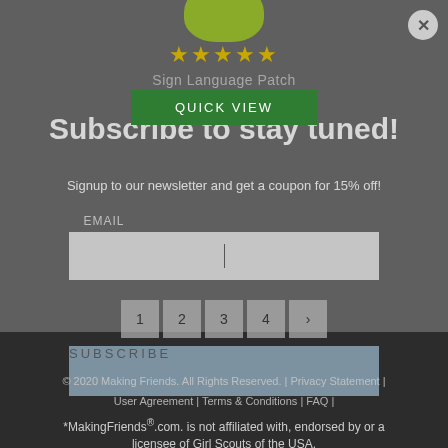[Figure (illustration): Green circular product image (partial, cropped at top)]
[Figure (illustration): Five gold star rating icons]
Sign Language Patch
QUICK VIEW
Subscribe to stay tuned!
Signup to our newsletter and get a coupon for 15% off!
EMAIL
SUBSCRIBE
1 2 3 4 >
*MakingFriends®.com. is not affiliated with, endorsed by or a licensee of Girl Scouts of the USA.
© 2020 Making Friends. All Rights Reserved. | Privacy Statement | User Agreement | Terms & Conditions | FAQ |